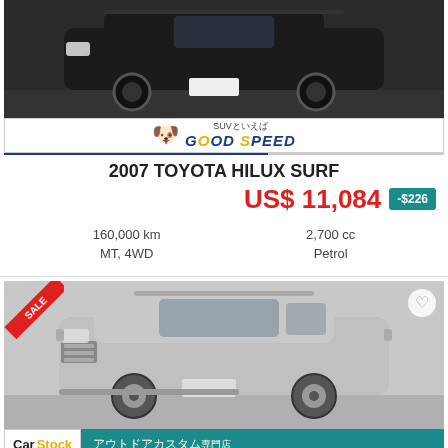[Figure (photo): Dark-colored Toyota Hilux Surf SUV, front view, in a dealership setting]
[Figure (logo): Good Speed dealership logo with pug dog mascot and Japanese text SUVといえば GOOD SPEED]
2007 TOYOTA HILUX SURF
US$ 11,084  -$226
160,000 km
MT, 4WD
2,700 cc
Petrol
[Figure (photo): Silver Toyota Hilux Surf SUV, front-side view, with SALE banner, heart icon, in a dealership setting]
[Figure (logo): CarStock dealership logo with Japanese text アウトドアカスタム専門店]
2004 TOYOTA HILUX SURF
US$ 11,466  -$234
78,000 km
2,700 cc
5
5